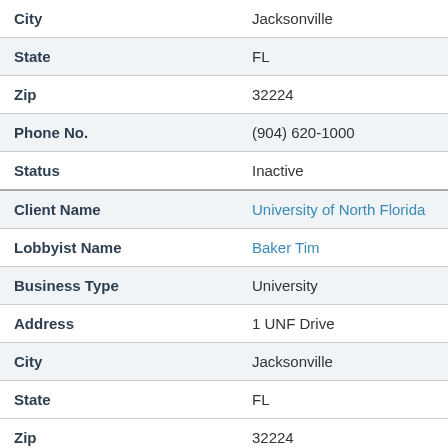| Field | Value |
| --- | --- |
| City | Jacksonville |
| State | FL |
| Zip | 32224 |
| Phone No. | (904) 620-1000 |
| Status | Inactive |
| Client Name | University of North Florida |
| Lobbyist Name | Baker Tim |
| Business Type | University |
| Address | 1 UNF Drive |
| City | Jacksonville |
| State | FL |
| Zip | 32224 |